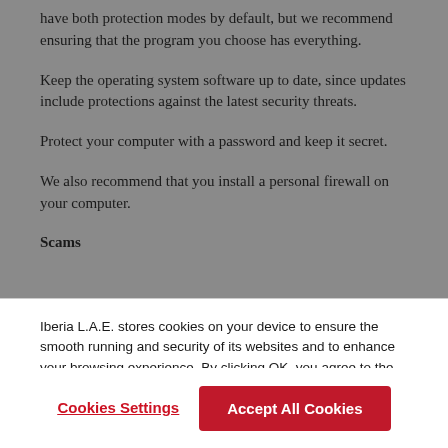have both protection modes by default, but we recommend ensuring that the program you choose has everything.
Keep the operating system software up to date, since updates include protections against the latest security threats.
Protect your computer with a password and keep it secret.
We also recommend that you install a personal firewall on your computer.
Scams
Iberia L.A.E. stores cookies on your device to ensure the smooth running and security of its websites and to enhance your browsing experience. By clicking OK, you agree to the use of these cookies. You can change your settings whenever you want in Cookies Settings. For more information, please see our Cookies Policy.
Cookies Settings
Accept All Cookies